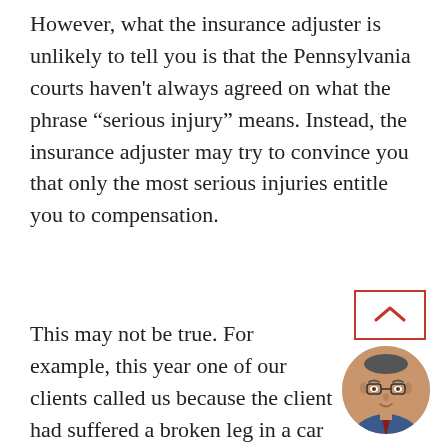However, what the insurance adjuster is unlikely to tell you is that the Pennsylvania courts haven't always agreed on what the phrase “serious injury” means. Instead, the insurance adjuster may try to convince you that only the most serious injuries entitle you to compensation.
This may not be true. For example, this year one of our clients called us because the client had suffered a broken leg in a car accident and had limited tort insurance. The client underwent surgery to repair the
[Figure (photo): Circular portrait photo of a middle-aged man wearing glasses and a suit, with a scroll-to-top button (red outlined rectangle with up arrow) above it in the bottom-right corner.]